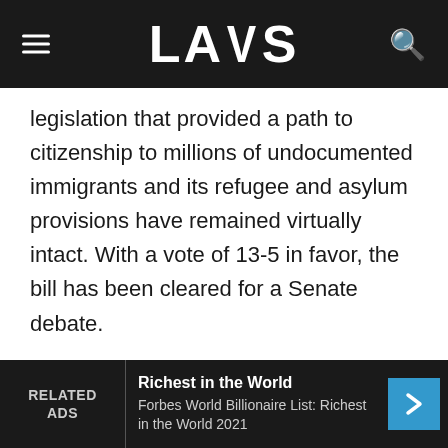LAWS
legislation that provided a path to citizenship to millions of undocumented immigrants and its refugee and asylum provisions have remained virtually intact. With a vote of 13-5 in favor, the bill has been cleared for a Senate debate.
(More on News at LAWS.com, contact Adam for interviews "adama@laws.com")
The original legislation that was put forth by the Gang of Eight seeks to expand legal immigration over a period of 10 years, increase border security, and provide a path to citizenship to the 11 million undocumented immigrants in the country. This
RELATED ADS | Richest in the World | Forbes World Billionaire List: Richest in the World 2021